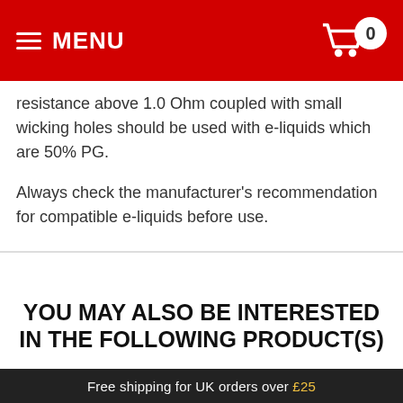MENU  0
resistance above 1.0 Ohm coupled with small wicking holes should be used with e-liquids which are 50% PG.
Always check the manufacturer's recommendation for compatible e-liquids before use.
YOU MAY ALSO BE INTERESTED IN THE FOLLOWING PRODUCT(S)
[Figure (photo): Product bottle with green label showing 300MG, partially visible]
Free shipping for UK orders over £25